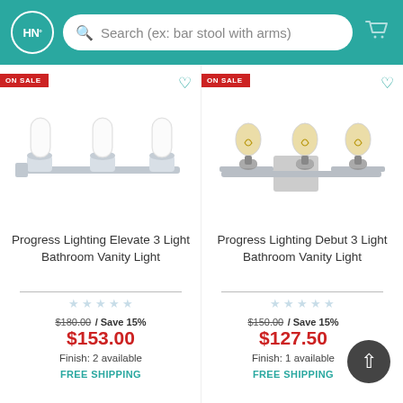HN° — Search (ex: bar stool with arms)
[Figure (photo): Progress Lighting Elevate 3 Light Bathroom Vanity Light in chrome with white frosted cylinder shades]
[Figure (photo): Progress Lighting Debut 3 Light Bathroom Vanity Light in brushed nickel with Edison bulbs]
ON SALE
ON SALE
Progress Lighting Elevate 3 Light Bathroom Vanity Light
Progress Lighting Debut 3 Light Bathroom Vanity Light
$180.00 / Save 15%
$153.00
Finish: 2 available
FREE SHIPPING
$150.00 / Save 15%
$127.50
Finish: 1 available
FREE SHIPPING